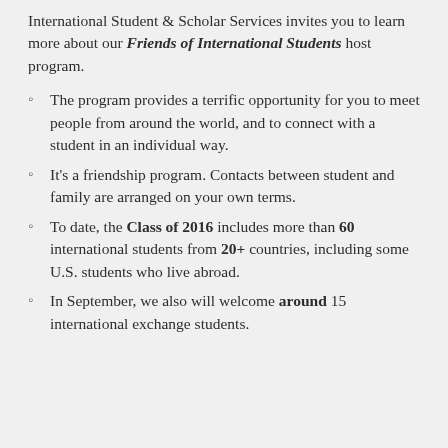International Student & Scholar Services invites you to learn more about our Friends of International Students host program.
The program provides a terrific opportunity for you to meet people from around the world, and to connect with a student in an individual way.
It's a friendship program. Contacts between student and family are arranged on your own terms.
To date, the Class of 2016 includes more than 60 international students from 20+ countries, including some U.S. students who live abroad.
In September, we also will welcome around 15 international exchange students.